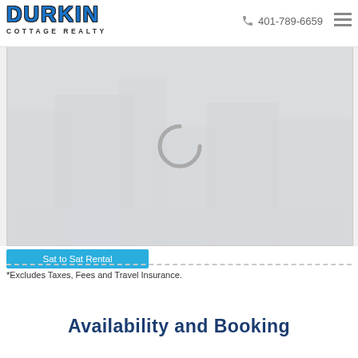[Figure (logo): Durkin Cottage Realty logo with blue stylized text and subtitle]
401-789-6659
[Figure (photo): Loading image placeholder with spinner/loading indicator over a faded cottage/building photograph]
Sat to Sat Rental
*Excludes Taxes, Fees and Travel Insurance.
Availability and Booking